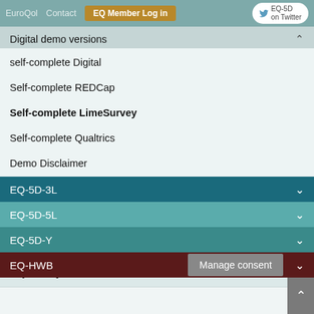EuroQol  Contact  EQ Member Log in  EQ-5D on Twitter
Digital demo versions
self-complete Digital
Self-complete REDCap
Self-complete LimeSurvey
Self-complete Qualtrics
Demo Disclaimer
Available EQ-5D versions
EQ-5D User Guides
How to obtain EQ-5D
Key EuroQol references
EQ-5D-3L
EQ-5D-5L
EQ-5D-Y
EQ-HWB
Manage consent